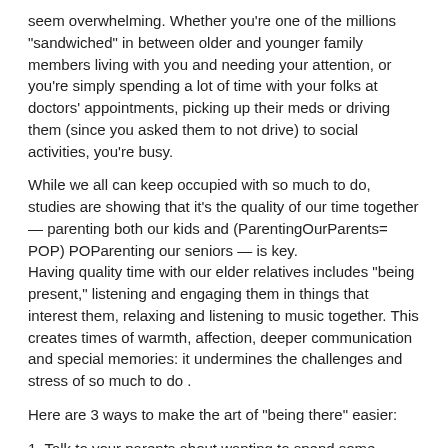seem overwhelming. Whether you're one of the millions "sandwiched" in between older and younger family members living with you and needing your attention, or you're simply spending a lot of time with your folks at doctors' appointments, picking up their meds or driving them (since you asked them to not drive) to social activities, you're busy.
While we all can keep occupied with so much to do, studies are showing that it's the quality of our time together — parenting both our kids and (ParentingOurParents= POP) POParenting our seniors — is key. Having quality time with our elder relatives includes "being present," listening and engaging them in things that interest them, relaxing and listening to music together. This creates times of warmth, affection, deeper communication and special memories: it undermines the challenges and stress of so much to do .
Here are 3 ways to make the art of "being there" easier:
1. Talk to your parents about wanting to spend some quality time to specially connect with them. Let them know you value them, their time, their memories and their opinions.
2. Start out with a limited amount of time, 10 to 15 minutes, as if